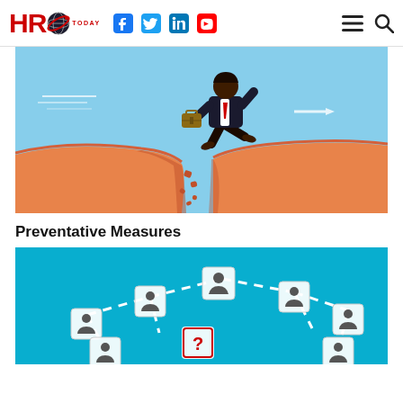HRO Today - navigation header with social media icons (Facebook, Twitter, LinkedIn, YouTube) and menu/search icons
[Figure (illustration): Illustration of a businessman in a dark suit jumping across a gap between two orange cliffs with a light blue sky background, carrying a briefcase, with small rocks falling into the gap]
Preventative Measures
[Figure (photo): Photo of white cube dice with person/user icons on them arranged on a bright blue background, connected by dashed white lines, with one cube showing a question mark]